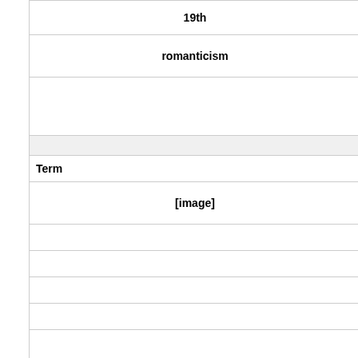| 19th |
| romanticism |
|  |
|  |
| Term |
| [image] |
|  |
|  |
|  |
|  |
|  |
| Definition |
| Jean-Francois Millet |
| "The gleaners" |